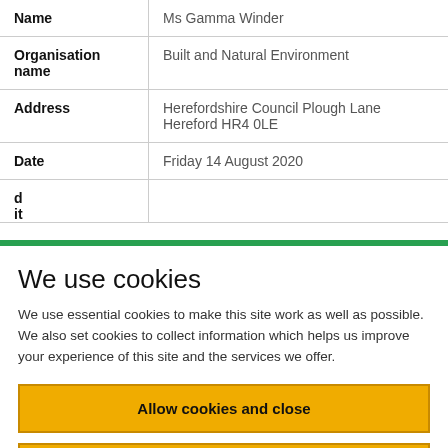|  |  |
| --- | --- |
| Name | Ms Gamma Winder |
| Organisation name | Built and Natural Environment |
| Address | Herefordshire Council Plough Lane Hereford HR4 0LE |
| Date | Friday 14 August 2020 |
We use cookies
We use essential cookies to make this site work as well as possible. We also set cookies to collect information which helps us improve your experience of this site and the services we offer.
Allow cookies and close
Cookie settings